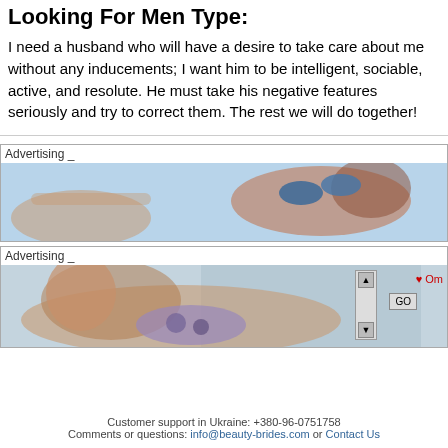Looking For Men Type:
I need a husband who will have a desire to take care about me without any inducements; I want him to be intelligent, sociable, active, and resolute. He must take his negative features seriously and try to correct them. The rest we will do together!
[Figure (other): Advertising banner with woman in bikini on blue background]
[Figure (other): Advertising banner with woman in patterned bikini, scrollbar and GO button on right side]
Customer support in Ukraine: +380-96-0751758
Comments or questions: info@beauty-brides.com or Contact Us